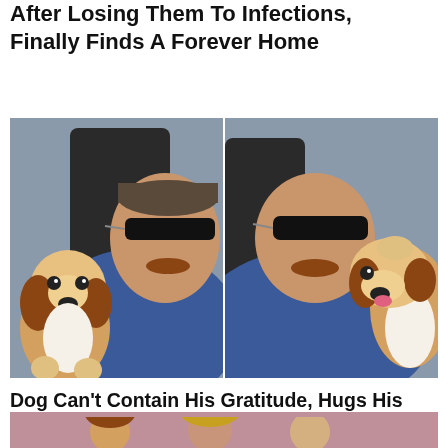After Losing Them To Infections, Finally Finds A Forever Home
[Figure (photo): Two side-by-side selfie photos of a man with sunglasses and a mustache wearing a blue shirt in a car. In the left photo, a beagle dog sits next to him. In the right photo, the same beagle hugs the man's shoulder/neck with its paws up.]
Dog Can't Contain His Gratitude, Hugs His Rescuer After Being Rescued From Being Euthanized In A Shelter
[Figure (photo): Partial view of a bottom photo showing people, cropped at the bottom of the page.]